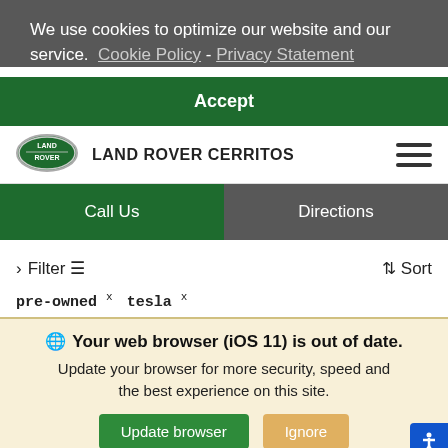We use cookies to optimize our website and our service. Cookie Policy - Privacy Statement
Accept
[Figure (logo): Land Rover oval logo with green background and silver border]
LAND ROVER CERRITOS
[Figure (other): Hamburger menu icon with three horizontal lines]
Call Us
Directions
> Filter  ⇕ Sort
pre-owned x   tesla x
🌐 Your web browser (iOS 11) is out of date. Update your browser for more security, speed and the best experience on this site.
Update browser
Ignore